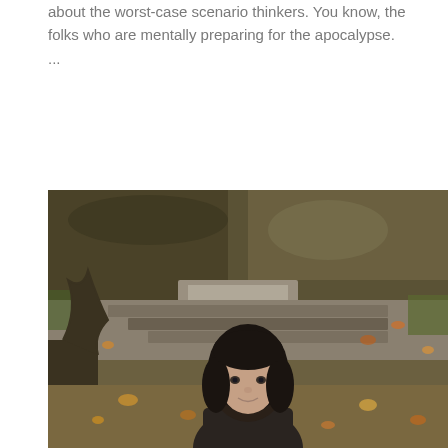about the worst-case scenario thinkers. You know, the folks who are mentally preparing for the apocalypse. ...
[Figure (photo): A young woman with dark hair sitting outdoors in an autumn setting. The background shows trees, fallen leaves, and stone steps. She is looking toward the camera.]